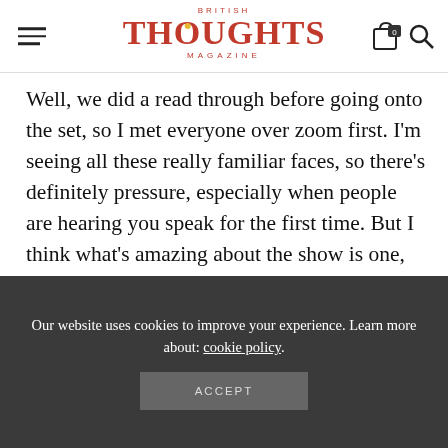BRITISH THOUGHTS MAGAZINE
Well, we did a read through before going onto the set, so I met everyone over zoom first. I'm seeing all these really familiar faces, so there's definitely pressure, especially when people are hearing you speak for the first time. But I think what's amazing about the show is one, the cast. They're people who care so much. There's this glorious vulnerability to people because everyone wants to be really good
Our website uses cookies to improve your experience. Learn more about: cookie policy.
ACCEPT